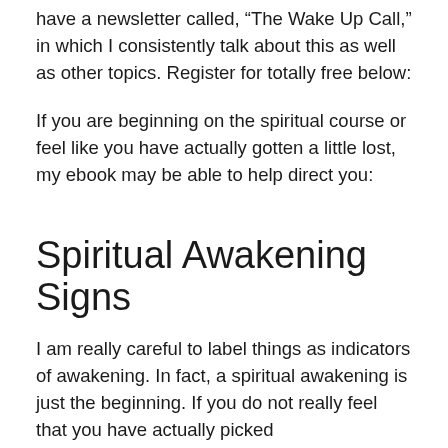have a newsletter called, “The Wake Up Call,” in which I consistently talk about this as well as other topics. Register for totally free below:
If you are beginning on the spiritual course or feel like you have actually gotten a little lost, my ebook may be able to help direct you:
Spiritual Awakening Signs
I am really careful to label things as indicators of awakening. In fact, a spiritual awakening is just the beginning. If you do not really feel that you have actually picked